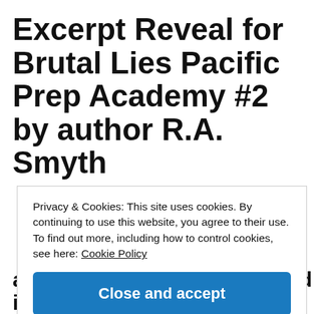Excerpt Reveal for Brutal Lies Pacific Prep Academy #2 by author R.A. Smyth
Privacy & Cookies: This site uses cookies. By continuing to use this website, you agree to their use.
To find out more, including how to control cookies, see here: Cookie Policy
Close and accept
ability to breath as I'm sucked into the